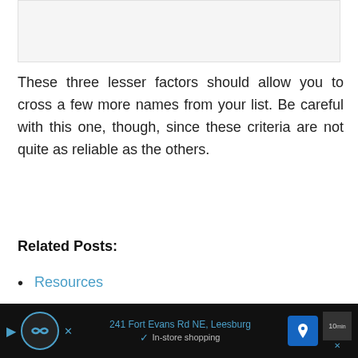[Figure (other): Gray placeholder image area at top of page]
These three lesser factors should allow you to cross a few more names from your list. Be careful with this one, though, since these criteria are not quite as reliable as the others.
Related Posts:
Resources
AKC Registration: What They Don't Tell You